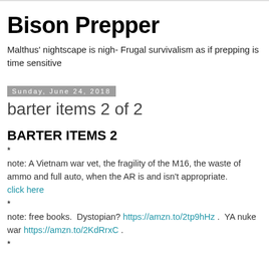Bison Prepper
Malthus' nightscape is nigh- Frugal survivalism as if prepping is time sensitive
Sunday, June 24, 2018
barter items 2 of 2
BARTER ITEMS 2
*
note: A Vietnam war vet, the fragility of the M16, the waste of ammo and full auto, when the AR is and isn't appropriate. click here
*
note: free books.  Dystopian? https://amzn.to/2tp9hHz .  YA nuke war https://amzn.to/2KdRrxC .
*